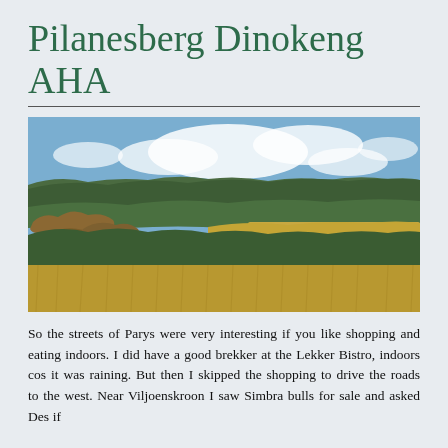Pilanesberg Dinokeng AHA
[Figure (photo): Landscape photograph of the Pilanesberg area showing rolling hills densely covered with green trees, rocky outcrops on the left, golden grassland in the middle ground, and a blue sky with clouds above.]
So the streets of Parys were very interesting if you like shopping and eating indoors. I did have a good brekker at the Lekker Bistro, indoors cos it was raining. But then I skipped the shopping to drive the roads to the west. Near Viljoenskroon I saw Simbra bulls for sale and asked Des if